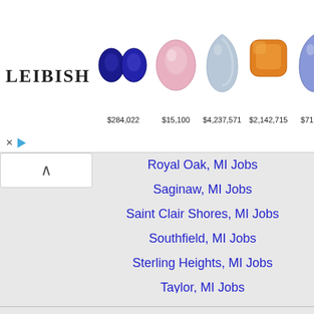[Figure (screenshot): LEIBISH ad banner showing colored gemstones with prices: two blue oval sapphires $284,022; pink oval diamond $15,100; light blue pear diamond $4,237,571; orange cushion diamond $2,142,715; blue pear sapphire $71,398]
Royal Oak, MI Jobs
Saginaw, MI Jobs
Saint Clair Shores, MI Jobs
Southfield, MI Jobs
Sterling Heights, MI Jobs
Taylor, MI Jobs
Toledo, OH Jobs
Troy, MI Jobs
Warren, MI Jobs
Waterford, MI Jobs
West Bloomfield Township, MI Jobs
Westland, MI Jobs